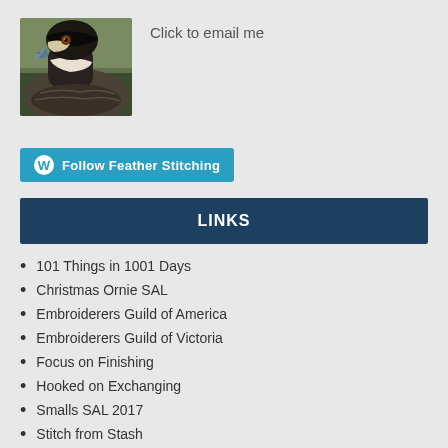[Figure (photo): Close-up photo of a duck's head and neck, showing black and white striped markings, a blue-grey bill, and brown eye, set against a blurred background.]
Click to email me
[Figure (logo): WordPress Follow button with WordPress logo icon and text 'Follow Feather Stitching' on a teal/cyan background]
LINKS
101 Things in 1001 Days
Christmas Ornie SAL
Embroiderers Guild of America
Embroiderers Guild of Victoria
Focus on Finishing
Hooked on Exchanging
Smalls SAL 2017
Stitch from Stash